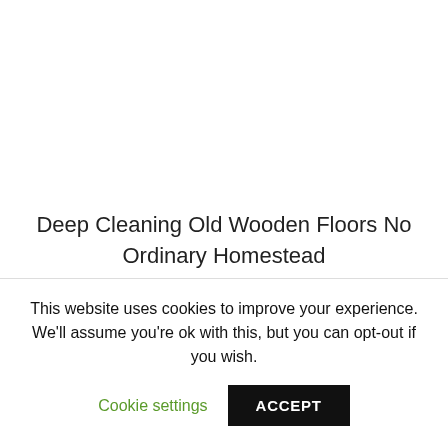Deep Cleaning Old Wooden Floors No Ordinary Homestead
[Figure (photo): Broken image placeholder with alt text: How To Clean Old Hardwood Floors]
This website uses cookies to improve your experience. We'll assume you're ok with this, but you can opt-out if you wish.
Cookie settings  ACCEPT